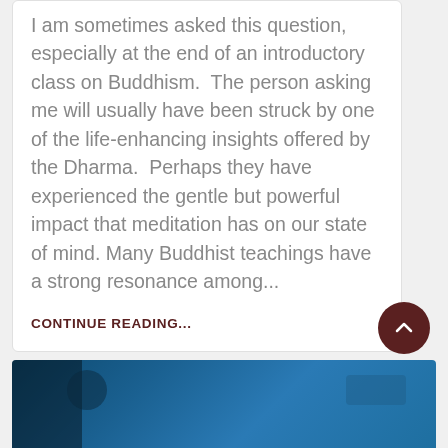I am sometimes asked this question, especially at the end of an introductory class on Buddhism.  The person asking me will usually have been struck by one of the life-enhancing insights offered by the Dharma.  Perhaps they have experienced the gentle but powerful impact that meditation has on our state of mind.  Many Buddhist teachings have a strong resonance among...
CONTINUE READING...
by David Michie
3  24
[Figure (photo): Blue underwater or ocean scene, partially visible at the bottom of the page with dark shadowed area on the left side]